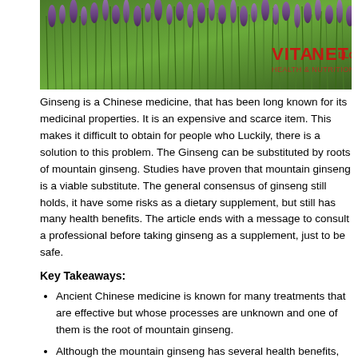[Figure (photo): A photograph of lavender or similar purple flowering plants growing densely, with a VitaNet logo watermark in the upper right corner.]
Ginseng is a Chinese medicine, that has been long known for its medicinal properties. It is an expensive and scarce item. This makes it difficult to obtain for people who need it most. Luckily, there is a solution to this problem. The Ginseng can be substituted by the cultured roots of mountain ginseng. Studies have proven that mountain ginseng is a viable and effective substitute. The general consensus of ginseng still holds, it have some risks as a dietary supplement, but still has many health benefits. The article ends with a message to consult a professional before taking ginseng as a supplement, just to be safe.
Key Takeaways:
Ancient Chinese medicine is known for many treatments that are effective but whose processes are unknown and one of them is the root of mountain ginseng.
Although the mountain ginseng has several health benefits, many people cannot think of it because it is very expensive and very scarce.
Some researchers sought out to find out the effectiveness of alternatives to mountain ginseng like the cultured roots of mountain ginseng (CRMG) and its compound, ginsenoside Re (Re).